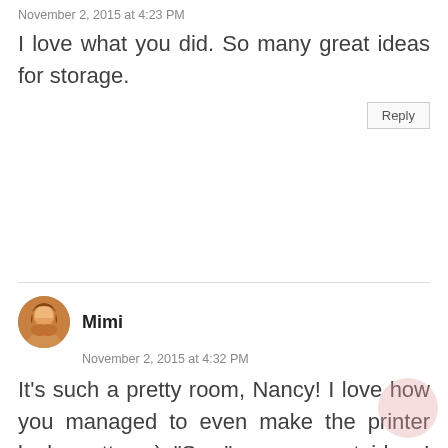November 2, 2015 at 4:23 PM
I love what you did. So many great ideas for storage.
Reply
Mimi
November 2, 2015 at 4:32 PM
It's such a pretty room, Nancy! I love how you managed to even make the printer look pretty. :-) "Sew" many great ideas! (Sorry, I couldn't help myself...we worked on puns at school today. Ha!)